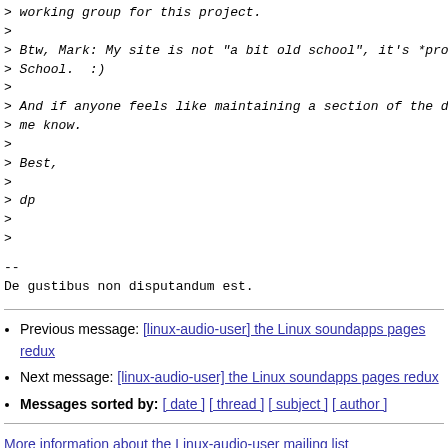> working group for this project.
>
> Btw, Mark: My site is not "a bit old school", it's *pro
> School.  :)
>
> And if anyone feels like maintaining a section of the d
> me know.
>
> Best,
>
> dp
>
>
--
De gustibus non disputandum est.
Previous message: [linux-audio-user] the Linux soundapps pages redux
Next message: [linux-audio-user] the Linux soundapps pages redux
Messages sorted by: [ date ] [ thread ] [ subject ] [ author ]
More information about the Linux-audio-user mailing list